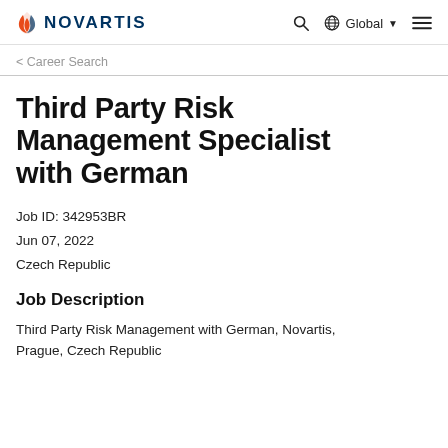NOVARTIS | Global
Career Search
Third Party Risk Management Specialist with German
Job ID: 342953BR
Jun 07, 2022
Czech Republic
Job Description
Third Party Risk Management with German, Novartis, Prague, Czech Republic